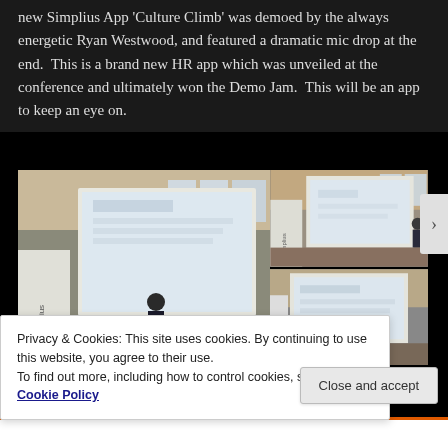new Simplius App 'Culture Climb' was demoed by the always energetic Ryan Westwood, and featured a dramatic mic drop at the end.  This is a brand new HR app which was unveiled at the conference and ultimately won the Demo Jam.  This will be an app to keep an eye on.
[Figure (photo): Collage of three conference room photos showing a speaker at a podium with a projection screen, with Simplius branding visible on banners. Two smaller photos on the right show close-ups of the projection screen.]
Privacy & Cookies: This site uses cookies. By continuing to use this website, you agree to their use.
To find out more, including how to control cookies, see here: Cookie Policy
Close and accept